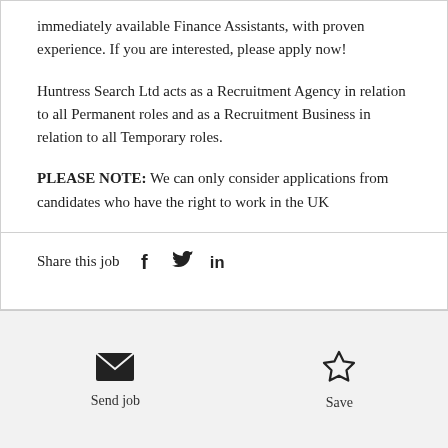immediately available Finance Assistants, with proven experience. If you are interested, please apply now!
Huntress Search Ltd acts as a Recruitment Agency in relation to all Permanent roles and as a Recruitment Business in relation to all Temporary roles.
PLEASE NOTE: We can only consider applications from candidates who have the right to work in the UK
Share this job
Send job
Save